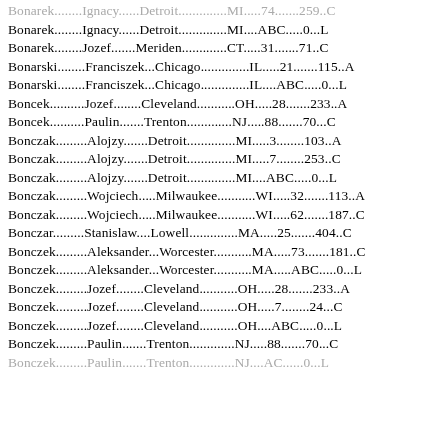Bonarek........Ignacy......Detroit..............MI.....74.......259..C
Bonarek........Ignacy......Detroit..............MI....ABC.....0...L
Bonarek........Jozef.......Meriden.............CT.....31.......71..C
Bonarski........Franciszek...Chicago..............IL.....21.......115..A
Bonarski........Franciszek...Chicago..............IL....ABC.....0...L
Boncek..........Jozef........Cleveland...........OH.....28.......233..A
Boncek..........Paulin.......Trenton.............NJ.....88.......70...C
Bonczak.........Alojzy.......Detroit..............MI.....3........103..A
Bonczak.........Alojzy.......Detroit..............MI.....7........253..C
Bonczak.........Alojzy.......Detroit..............MI....ABC.....0...L
Bonczak.........Wojciech.....Milwaukee...........WI.....32.......113..A
Bonczak.........Wojciech.....Milwaukee...........WI.....62.......187..C
Bonczar.........Stanislaw....Lowell..............MA.....25.......404..C
Bonczek.........Aleksander...Worcester...........MA.....73.......181..C
Bonczek.........Aleksander...Worcester...........MA.....ABC.....0...L
Bonczek.........Jozef........Cleveland...........OH.....28.......233..A
Bonczek.........Jozef........Cleveland...........OH.....7........24...C
Bonczek.........Jozef........Cleveland...........OH....ABC.....0...L
Bonczek.........Paulin.......Trenton.............NJ.....88.......70...C
Bonczek.........Paulin.......Trenton.............NJ....AC......0...L